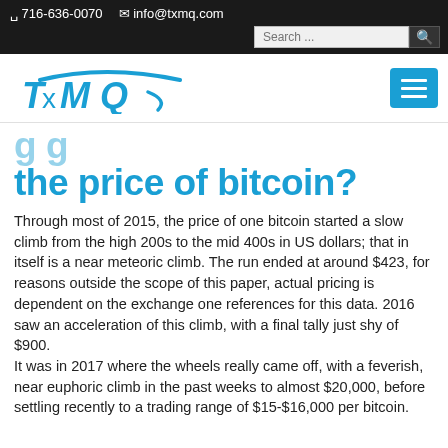716-636-0070   info@txmq.com
[Figure (logo): TxMQ company logo in blue with swoosh]
the price of bitcoin?
Through most of 2015, the price of one bitcoin started a slow climb from the high 200s to the mid 400s in US dollars; that in itself is a near meteoric climb. The run ended at around $423, for reasons outside the scope of this paper, actual pricing is dependent on the exchange one references for this data. 2016 saw an acceleration of this climb, with a final tally just shy of $900.
It was in 2017 where the wheels really came off, with a feverish, near euphoric climb in the past weeks to almost $20,000, before settling recently to a trading range of $15-$16,000 per bitcoin.